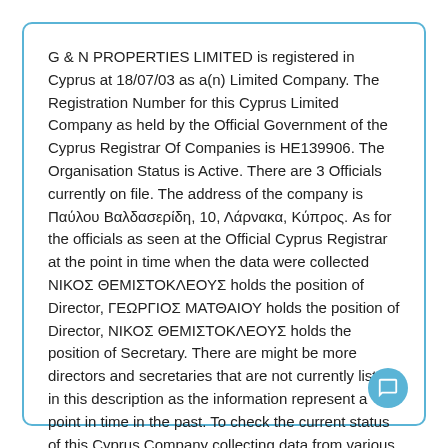G & N PROPERTIES LIMITED is registered in Cyprus at 18/07/03 as a(n) Limited Company. The Registration Number for this Cyprus Limited Company as held by the Official Government of the Cyprus Registrar Of Companies is HE139906. The Organisation Status is Active. There are 3 Officials currently on file. The address of the company is Παύλου Βαλδασερίδη, 10, Λάρνακα, Κύπρος. As for the officials as seen at the Official Cyprus Registrar at the point in time when the data were collected ΝΙΚΟΣ ΘΕΜΙΣΤΟΚΛΕΟΥΣ holds the position of Director, ΓΕΩΡΓΙΟΣ ΜΑΤΘΑΙΟΥ holds the position of Director, ΝΙΚΟΣ ΘΕΜΙΣΤΟΚΛΕΟΥΣ holds the position of Secretary. There are might be more directors and secretaries that are not currently listed in this description as the information represent a point in time in the past. To check the current status of this Cyprus Company collecting data from various sources please order a report.